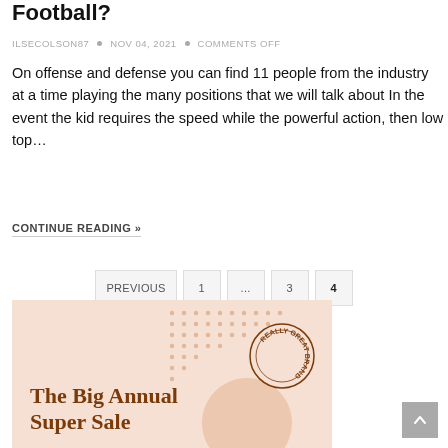Football?
ILSECOLSON87 • NOV 04, 2021 • COMMENTS OFF
On offense and defense you can find 11 people from the industry at a time playing the many positions that we will talk about In the event the kid requires the speed while the powerful action, then low top…
CONTINUE READING »
PREVIOUS 1 … 3 4
[Figure (illustration): Advertisement banner for 'The Big Annual Super Sale' with peach/salmon background, decorative dots pattern, circular blob shape, and a circular stamp logo reading 'REALLY GREAT BRAND']